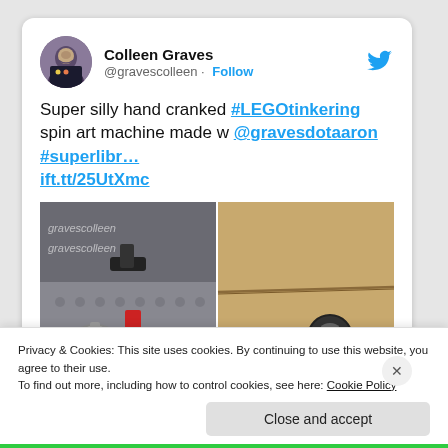[Figure (screenshot): Twitter/social media post by Colleen Graves (@gravescolleen) with a Follow button and Twitter bird icon. Tweet text reads: 'Super silly hand cranked #LEGOtinkering spin art machine made w @gravesdotaaron #superlibr… ift.tt/25UtXmc'. Below the text is a photo of LEGO gears and mechanical parts (two images side by side).]
Privacy & Cookies: This site uses cookies. By continuing to use this website, you agree to their use.
To find out more, including how to control cookies, see here: Cookie Policy
Close and accept